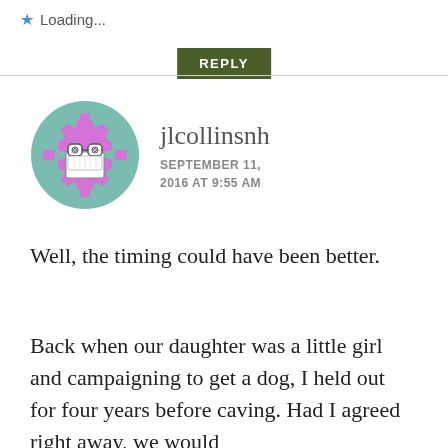Loading...
REPLY
[Figure (illustration): Avatar icon: pink gear-shaped robot face with glasses and a grin, on a teal/green circular background]
jlcollinsnh
SEPTEMBER 11, 2016 AT 9:55 AM
Well, the timing could have been better.
Back when our daughter was a little girl and campaigning to get a dog, I held out for four years before caving. Had I agreed right away, we would